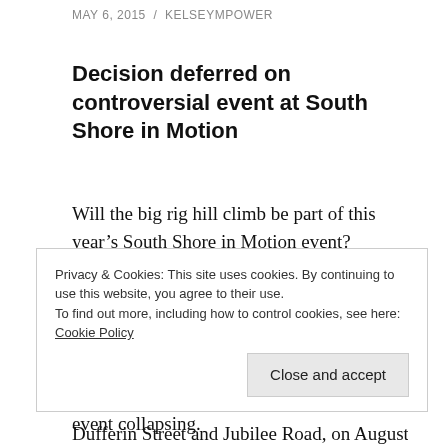MAY 6, 2015 / KELSEYMPOWER
Decision deferred on controversial event at South Shore in Motion
Will the big rig hill climb be part of this year’s South Shore in Motion event?
Organizers Charlie Horstman and Robby Sarty made another pitch to Bridgewater Town Council April 27. A similar request was denied last year, which led to the entire event collapsing.
Privacy & Cookies: This site uses cookies. By continuing to use this website, you agree to their use.
To find out more, including how to control cookies, see here: Cookie Policy
Dufferin Street and Jubilee Road, on August 9 at 1 p.m.